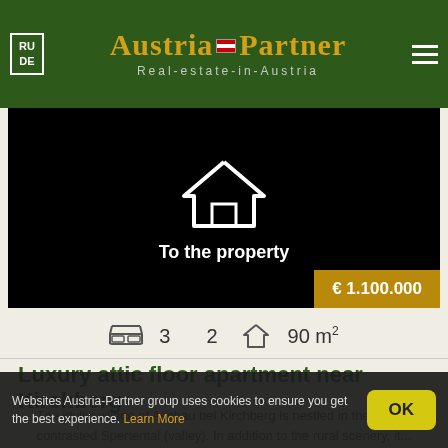RU DE | Austria-Partner Real-estate-in-Austria
[Figure (screenshot): Black property image placeholder with white house icon and text 'To the property', price tag € 1.100.000]
3  2  90 m²
Luxury attic floor apartment near Kirchberg
The idyllic village of Aschau bei Kirchberg is nestled in the highly-contrasted Spertental (valley). In addition to the rural scenery, it...
Websites Austria-Partner group uses cookies to ensure you get the best experience. Learn More  OK